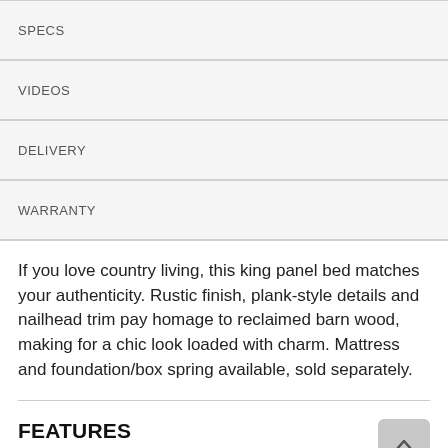SPECS
VIDEOS
DELIVERY
WARRANTY
If you love country living, this king panel bed matches your authenticity. Rustic finish, plank-style details and nailhead trim pay homage to reclaimed barn wood, making for a chic look loaded with charm. Mattress and foundation/box spring available, sold separately.
FEATURES